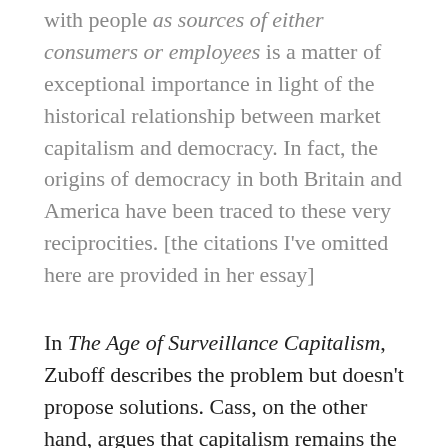with people as sources of either consumers or employees is a matter of exceptional importance in light of the historical relationship between market capitalism and democracy. In fact, the origins of democracy in both Britain and America have been traced to these very reciprocities. [the citations I've omitted here are provided in her essay]
In The Age of Surveillance Capitalism, Zuboff describes the problem but doesn't propose solutions. Cass, on the other hand, argues that capitalism remains the best hope for workers to reclaim their share of economic